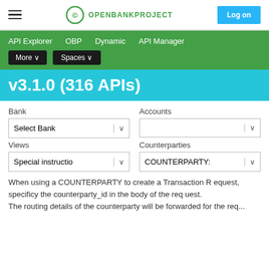OPENBANKPROJECT — Log on
API Explorer  OBP  Dynamic  API Manager  More ∨  Spaces ∨
v3.1.0 (316 APIs)
Bank  Accounts  Select Bank ∨  ∨  Views  Counterparties  Special instructio ∨  COUNTERPARTY: ∨
When using a COUNTERPARTY to create a Transaction Request, specificy the counterparty_id in the body of the request.
The routing details of the counterparty will be forwarded for the req...